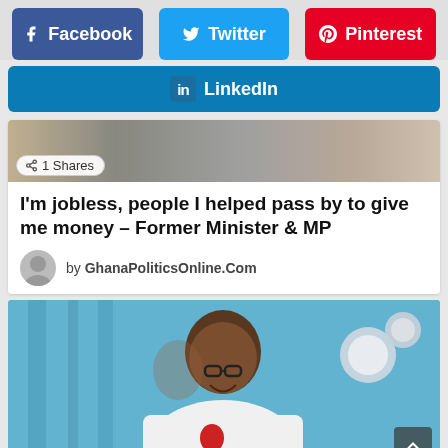[Figure (screenshot): Social share buttons row: Facebook (blue-purple), Twitter (blue), Pinterest (red)]
[Figure (screenshot): LinkedIn social share button (blue)]
[Figure (photo): Partial article thumbnail image with 1 Shares badge]
I'm jobless, people I helped pass by to give me money – Former Minister & MP
by GhanaPoliticsOnline.Com
[Figure (photo): Photo of a man in white shirt speaking at a microphone with a blue background and stage lighting]